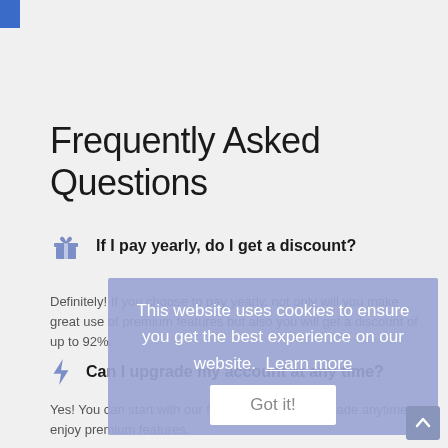Frequently Asked Questions
If I pay yearly, do I get a discount?
Definitely! If you choose to pay yearly, not only will you make great use of premium features but also you will get a discount of up to 92%.
Can I upgrade my account at any time?
Yes! You can start with our free package and upgrade anytime to enjoy premium features.
This website uses cookies to ensure you get the best experience on our website.  Learn more
Got it!